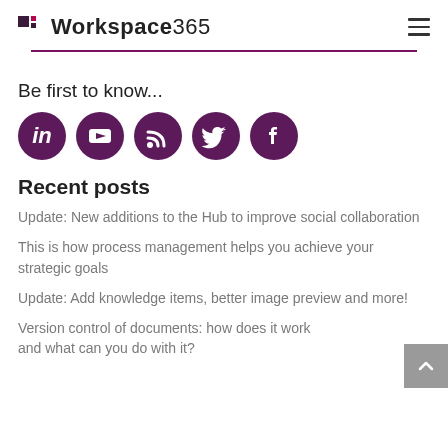Workspace365
[Figure (logo): Workspace365 logo with colored squares and text]
Be first to know...
[Figure (infographic): Five dark purple circular social media icons: LinkedIn, YouTube, RSS, Twitter, Facebook]
Recent posts
Update: New additions to the Hub to improve social collaboration
This is how process management helps you achieve your strategic goals
Update: Add knowledge items, better image preview and more!
Version control of documents: how does it work and what can you do with it?